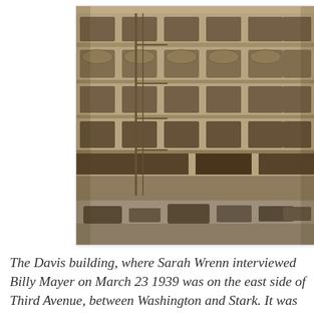[Figure (photo): Historic sepia-toned photograph of the Davis building (formerly the Abington building), a multi-story commercial building on the east side of Third Avenue between Washington and Stark. The street-level view shows storefronts, early automobiles, and pedestrians. The building facade shows ornate Victorian architecture with arched windows on the upper floors.]
The Davis building, where Sarah Wrenn interviewed Billy Mayer on March 23 1939 was on the east side of Third Avenue, between Washington and Stark. It was built in 1886 as the Abington building and once had a central tower on the roof that the tallest building in